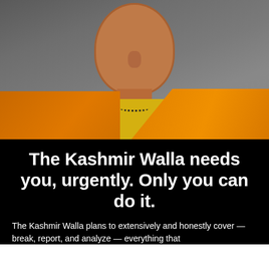[Figure (photo): Close-up photo of a man wearing orange robes and a yellow shirt with a necklace, set against a grey background. The image appears to depict a religious or political figure.]
The Kashmir Walla needs you, urgently. Only you can do it.
The Kashmir Walla plans to extensively and honestly cover — break, report, and analyze — everything that